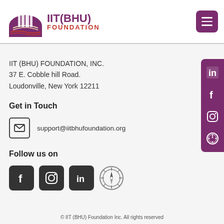[Figure (logo): IIT (BHU) Foundation logo with building illustration and purple/red text]
IIT (BHU) FOUNDATION, INC.
37 E. Cobble hill Road.
Loudonville, New York 12211
Get in Touch
support@iitbhufoundation.org
Follow us on
[Figure (illustration): Social media icons row: Facebook, Instagram, LinkedIn, Compass/IIT alumni site]
© IIT (BHU) Foundation Inc. All rights reserved